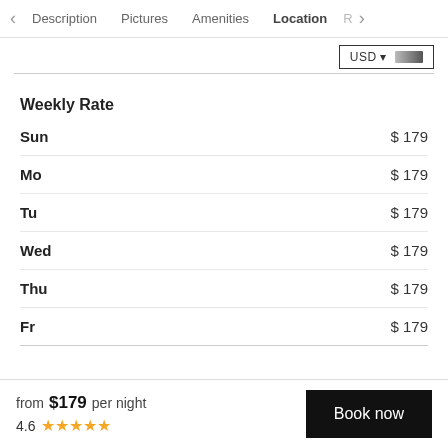< Description  Pictures  Amenities  Location  R >
USD ▾
Weekly Rate
| Day | Rate |
| --- | --- |
| Sun | $ 179 |
| Mo | $ 179 |
| Tu | $ 179 |
| Wed | $ 179 |
| Thu | $ 179 |
| Fr | $ 179 |
from $179 per night
4.6 ★★★★★
Book now